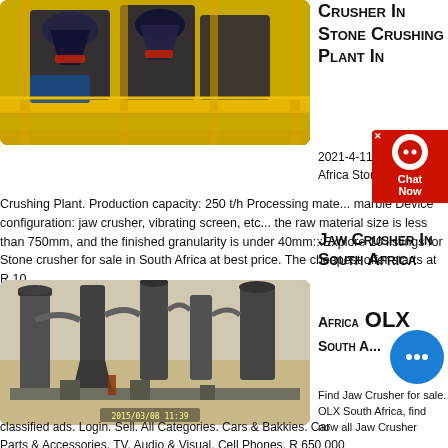[Figure (photo): Industrial stone crushing machinery on yellow scaffolding/platform]
Crusher In Stone Crushing Plant In
2021-4-11  South Africa Stone Crushing Plant. Production capacity: 250 t/h Processing mate... marble Device configuration: jaw crusher, vibrating screen, etc... the raw material size is less than 750mm, and the finished granularity is under 40mm:::Explore 10 listings for Stone crusher for sale in South Africa at best price. The cheapest offer starts at R 10
[Figure (photo): Industrial grinding/crushing plant with large cylindrical machinery and dust collection equipment]
Jaw Crusher In South Africa OLX South A...
Find Jaw Crusher for sale. OLX South Africa, find now all Jaw Crusher classified ads. Login. Sell. All Categories. Cars & Bakkies. Car Parts & Accessories. TV, Audio & Visual. Cell Phones. R 650 000